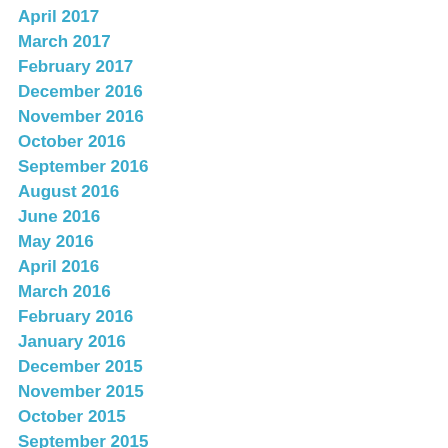April 2017
March 2017
February 2017
December 2016
November 2016
October 2016
September 2016
August 2016
June 2016
May 2016
April 2016
March 2016
February 2016
January 2016
December 2015
November 2015
October 2015
September 2015
August 2015
July 2015